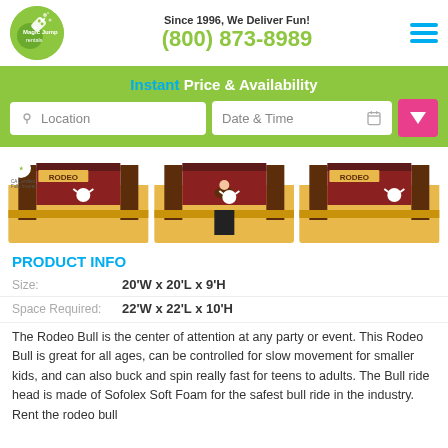[Figure (logo): Magic Jump Rentals logo - green circle with rocket and text]
Since 1996, We Deliver Fun!
(800) 873-8989
[Figure (illustration): Hamburger menu icon with three blue horizontal lines]
Instant Price & Availability
Location
Date & Time
[Figure (photo): Three product images of Rodeo Bull inflatable ride with yellow padding and brown barn structure]
PRODUCT INFO
Size: 20'W x 20'L x 9'H
Space Required: 22'W x 22'L x 10'H
The Rodeo Bull is the center of attention at any party or event. This Rodeo Bull is great for all ages, can be controlled for slow movement for smaller kids, and can also buck and spin really fast for teens to adults. The Bull ride head is made of Sofolex Soft Foam for the safest bull ride in the industry. Rent the rodeo bull